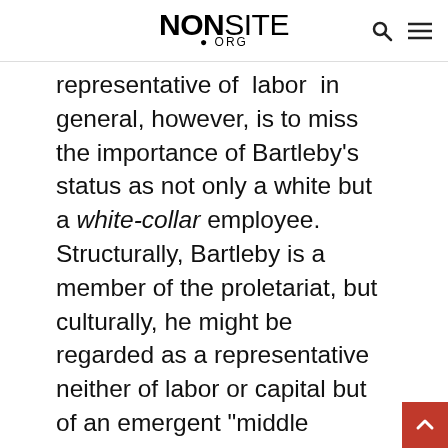NONSITE.ORG
representative of  labor  in general, however, is to miss the importance of Bartleby's status as not only a white but a white-collar employee. Structurally, Bartleby is a member of the proletariat, but culturally, he might be regarded as a representative neither of labor or capital but of an emergent "middle class":  a term that was just